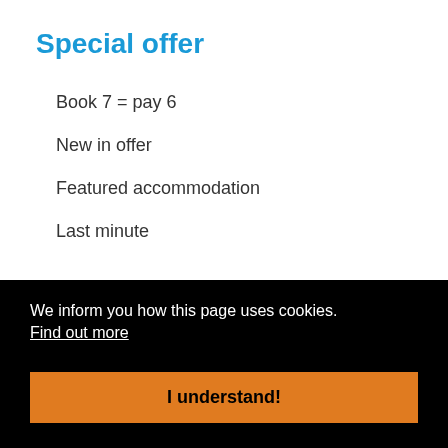Special offer
Book 7 = pay 6
New in offer
Featured accommodation
Last minute
We inform you how this page uses cookies.
Find out more
I understand!
Travel agency